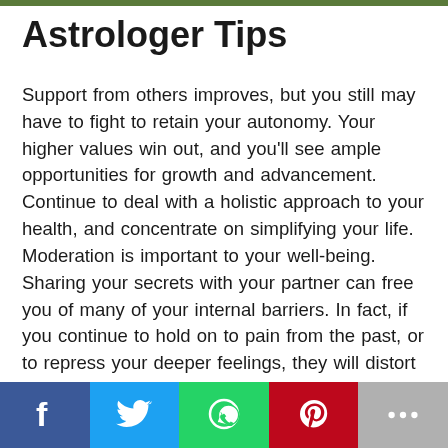Astrologer Tips
Support from others improves, but you still may have to fight to retain your autonomy. Your higher values win out, and you'll see ample opportunities for growth and advancement. Continue to deal with a holistic approach to your health, and concentrate on simplifying your life. Moderation is important to your well-being. Sharing your secrets with your partner can free you of many of your internal barriers. In fact, if you continue to hold on to pain from the past, or to repress your deeper feelings, they will distort your relationship and block the expression of true love. Get out of your head and into your heart during the Gemini Moon on the 13th. Then, plan to travel or share inspiring
[Figure (infographic): Social media share bar with Facebook, Twitter, WhatsApp, Pinterest, and more buttons]